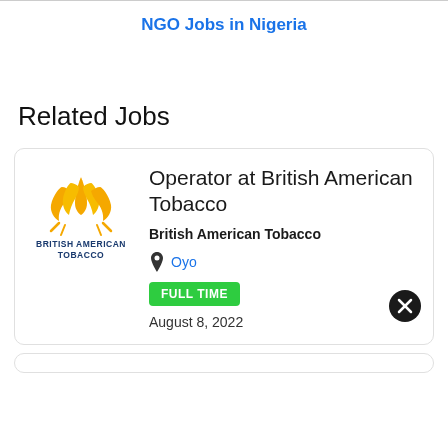NGO Jobs in Nigeria
Related Jobs
[Figure (logo): British American Tobacco logo with golden flame/leaf icon and company name in navy blue text]
Operator at British American Tobacco
British American Tobacco
Oyo
FULL TIME
August 8, 2022